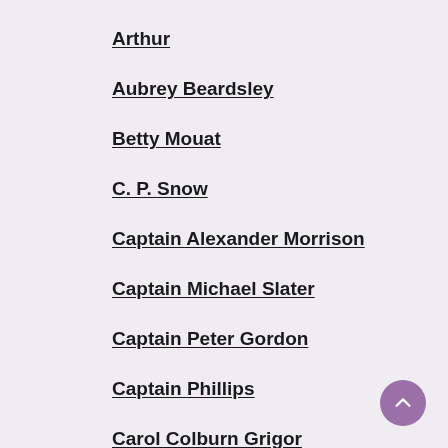Arthur
Aubrey Beardsley
Betty Mouat
C. P. Snow
Captain Alexander Morrison
Captain Michael Slater
Captain Peter Gordon
Captain Phillips
Carol Colburn Grigor